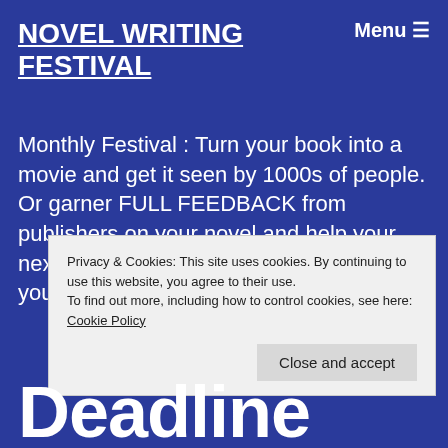NOVEL WRITING FESTIVAL
Menu ☰
Monthly Festival : Turn your book into a movie and get it seen by 1000s of people. Or garner FULL FEEDBACK from publishers on your novel and help your next draft. Or get a transcript video of your novel performed by professional a…
Privacy & Cookies: This site uses cookies. By continuing to use this website, you agree to their use.
To find out more, including how to control cookies, see here: Cookie Policy
Close and accept
Deadline